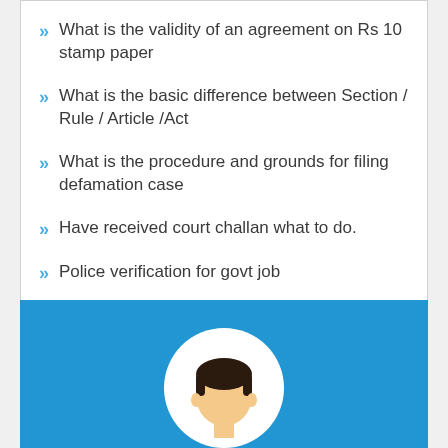What is the validity of an agreement on Rs 10 stamp paper
What is the basic difference between Section / Rule / Article /Act
What is the procedure and grounds for filing defamation case
Have received court challan what to do.
Police verification for govt job
How to File Writ Petition?
[Figure (illustration): Blue banner section with a white circle containing a flat-style avatar illustration of a person with dark hair and a light skin-toned face, cropped at bottom of page]